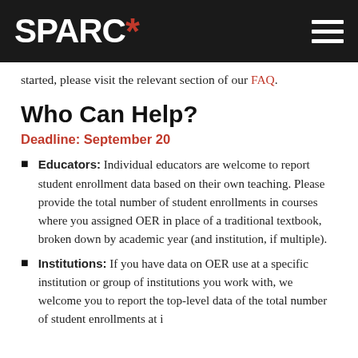SPARC*
started, please visit the relevant section of our FAQ.
Who Can Help?
Deadline: September 20
Educators: Individual educators are welcome to report student enrollment data based on their own teaching. Please provide the total number of student enrollments in courses where you assigned OER in place of a traditional textbook, broken down by academic year (and institution, if multiple).
Institutions: If you have data on OER use at a specific institution or group of institutions you work with, we welcome you to report the top-level data of the total number of student enrollments at i...